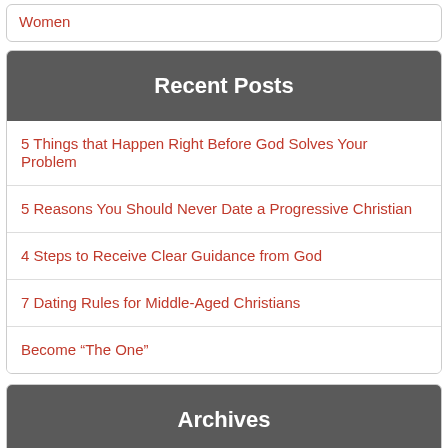Women
Recent Posts
5 Things that Happen Right Before God Solves Your Problem
5 Reasons You Should Never Date a Progressive Christian
4 Steps to Receive Clear Guidance from God
7 Dating Rules for Middle-Aged Christians
Become “The One”
Archives
August 2022